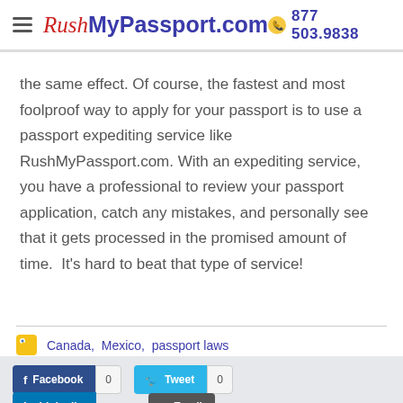RushMyPassport.com | 877 503.9838
the same effect. Of course, the fastest and most foolproof way to apply for your passport is to use a passport expediting service like RushMyPassport.com. With an expediting service, you have a professional to review your passport application, catch any mistakes, and personally see that it gets processed in the promised amount of time.  It's hard to beat that type of service!
Canada,  Mexico,  passport laws
Facebook 0   Tweet 0